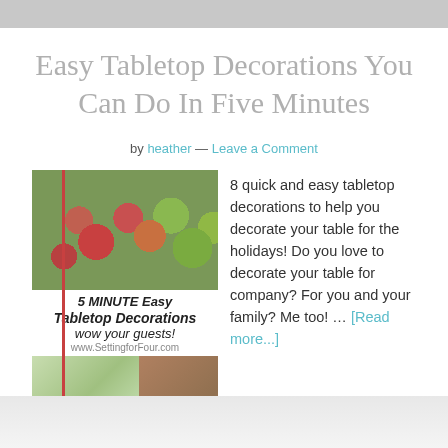Easy Tabletop Decorations You Can Do In Five Minutes
by heather — Leave a Comment
[Figure (photo): Collage image showing tabletop decorations: fruits (apples and pears) arranged on a table, with title text '5 MINUTE Easy Tabletop Decorations wow your guests! www.SettingforFour.com', and smaller photos of floral/plant arrangements and a decorative pumpkin.]
8 quick and easy tabletop decorations to help you decorate your table for the holidays! Do you love to decorate your table for company? For you and your family? Me too! … [Read more...]